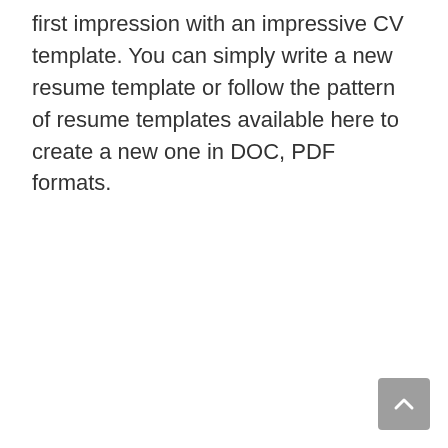first impression with an impressive CV template. You can simply write a new resume template or follow the pattern of resume templates available here to create a new one in DOC, PDF formats.